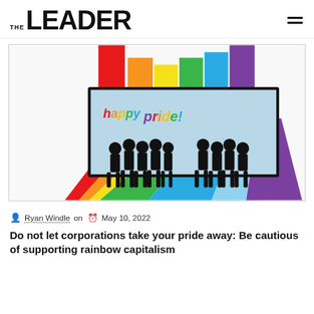THE LEADER
[Figure (illustration): Rainbow pride illustration showing a billboard-like screen with 'happy pride!' written in rainbow colors and black silhouettes of groups of people standing in front, with large rainbow-colored vertical and diagonal stripes radiating behind the screen.]
Ryan Windle on  May 10, 2022
Do not let corporations take your pride away: Be cautious of supporting rainbow capitalism